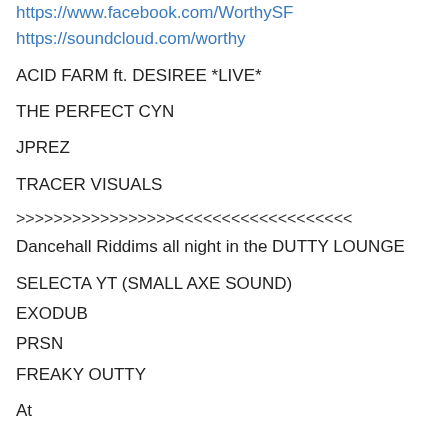https://www.facebook.com/WorthySF
https://soundcloud.com/worthy
ACID FARM ft. DESIREE *LIVE*
THE PERFECT CYN
JPREZ
TRACER VISUALS
>>>>>>>>>>>>>>>>><<<<<<<<<<<<<<<<<<<
Dancehall Riddims all night in the DUTTY LOUNGE
SELECTA YT (SMALL AXE SOUND)
EXODUB
PRSN
FREAKY OUTTY
At